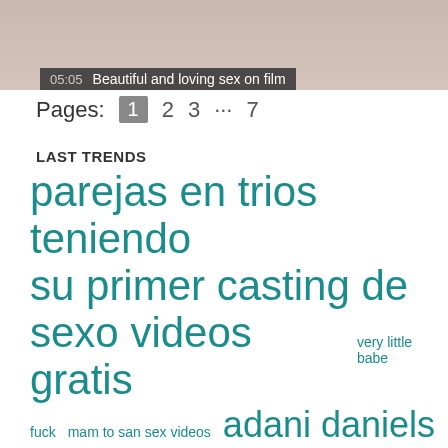[Figure (screenshot): Video thumbnail showing partial body, with overlay showing time 05:05 and title 'Beautiful and loving sex on film']
Pages: 1 2 3 … 7
LAST TRENDS
parejas en trios teniendo su primer casting de sexo videos gratis very little babe fuck mam to san sex videos adani daniels virgo peridot swallow cum horse fucking girls animated XXX sany leon photo ❤ jb teen bates stickam dog lick fat old man anal teen high and horney